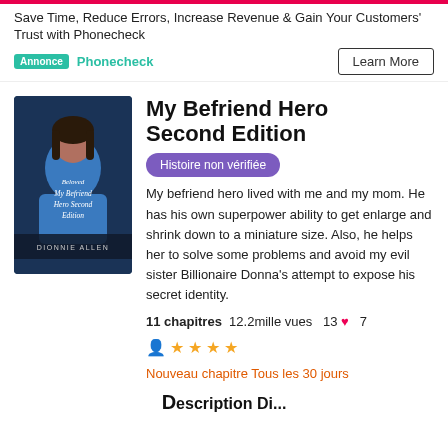Save Time, Reduce Errors, Increase Revenue & Gain Your Customers' Trust with Phonecheck
Annonce  Phonecheck
Learn More
[Figure (illustration): Book cover for 'My Befriend Hero Second Edition' by Dionnie Allen, showing a person in blue with dark hair, with stylized text overlay on a dark background.]
My Befriend Hero Second Edition
Histoire non vérifiée
My befriend hero lived with me and my mom. He has his own superpower ability to get enlarge and shrink down to a miniature size. Also, he helps her to solve some problems and avoid my evil sister Billionaire Donna's attempt to expose his secret identity.
11 chapitres  12.2mille vues  13 ♥  7
★★★★
Nouveau chapitre Tous les 30 jours